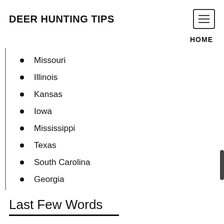DEER HUNTING TIPS
HOME
Missouri
Illinois
Kansas
Iowa
Mississippi
Texas
South Carolina
Georgia
Last Few Words